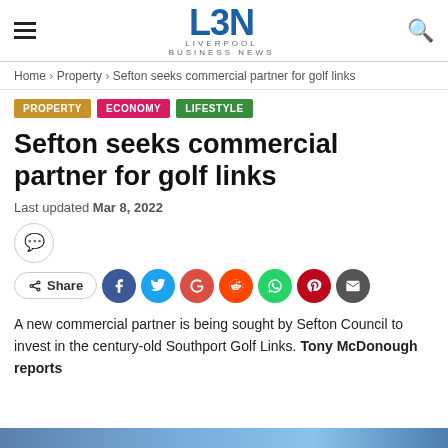LBN Liverpool Business News
Home > Property > Sefton seeks commercial partner for golf links
PROPERTY  ECONOMY  LIFESTYLE
Sefton seeks commercial partner for golf links
Last updated Mar 8, 2022
A new commercial partner is being sought by Sefton Council to invest in the century-old Southport Golf Links. Tony McDonough reports